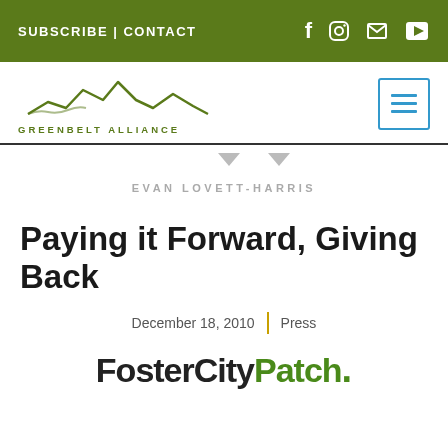SUBSCRIBE | CONTACT
[Figure (logo): Greenbelt Alliance logo with mountain/hill silhouette SVG graphic and text GREENBELT ALLIANCE]
EVAN LOVETT-HARRIS
Paying it Forward, Giving Back
December 18, 2010 | Press
[Figure (logo): FosterCityPatch logo in dark and green text]